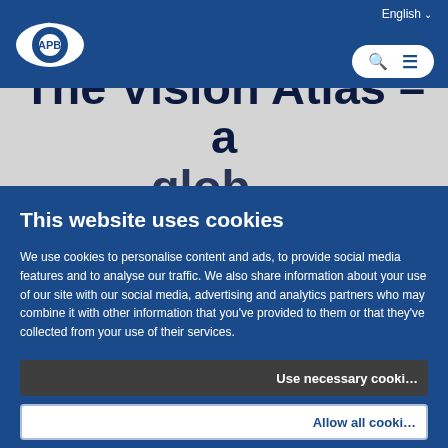[Figure (logo): IAPB logo — eye icon with IAPB text on a dark blue navigation bar, with English language selector and search/menu buttons]
The Vision Atlas – a glob…
This website uses cookies
We use cookies to personalise content and ads, to provide social media features and to analyse our traffic. We also share information about your use of our site with our social media, advertising and analytics partners who may combine it with other information that you've provided to them or that they've collected from your use of their services.
Use necessary cooki…
Allow all cooki…